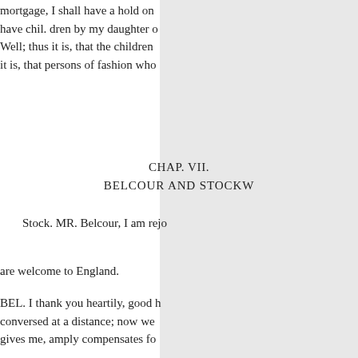mortgage, I shall have a hold on have chil. dren by my daughter o Well; thus it is, that the children it is, that persons of fashion who
CHAP. VII.
BELCOUR AND STOCKW
Stock. MR. Belcour, I am rejo are welcome to England.
BEL. I thank you heartily, good h conversed at a distance; now we gives me, amply compensates fo
Srock. What perils, Mr. Belcour? o'year.
BEL. Nor did we: courier like, that ever blew; it is upon English I complain of.
STOCK. Ay, indeed! What obstru
BEL. Innumerable ! your tow